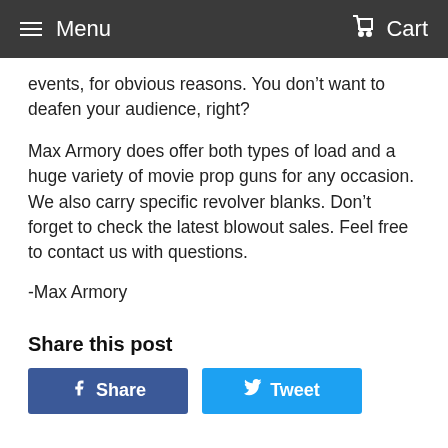Menu   Cart
events, for obvious reasons. You don’t want to deafen your audience, right?
Max Armory does offer both types of load and a huge variety of movie prop guns for any occasion. We also carry specific revolver blanks. Don’t forget to check the latest blowout sales. Feel free to contact us with questions.
-Max Armory
Share this post